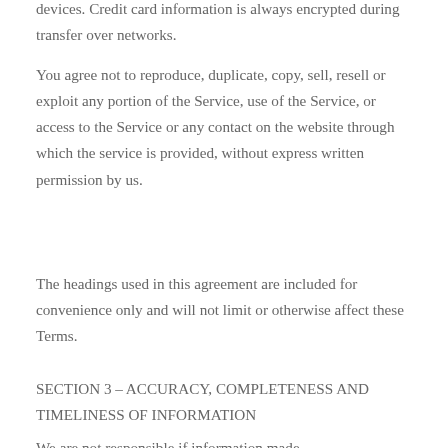devices. Credit card information is always encrypted during transfer over networks.
You agree not to reproduce, duplicate, copy, sell, resell or exploit any portion of the Service, use of the Service, or access to the Service or any contact on the website through which the service is provided, without express written permission by us.
The headings used in this agreement are included for convenience only and will not limit or otherwise affect these Terms.
SECTION 3 – ACCURACY, COMPLETENESS AND TIMELINESS OF INFORMATION
We are not responsible if information made